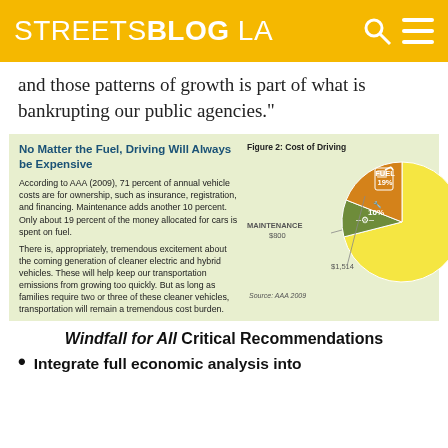STREETSBLOG LA
and those patterns of growth is part of what is bankrupting our public agencies."
[Figure (pie-chart): Pie chart showing cost breakdown: Ownership 71% (large yellow slice), Fuel 19% ($1,514, orange slice), Maintenance 10% ($800, green slice). Source: AAA 2009]
No Matter the Fuel, Driving Will Always be Expensive

According to AAA (2009), 71 percent of annual vehicle costs are for ownership, such as insurance, registration, and financing. Maintenance adds another 10 percent. Only about 19 percent of the money allocated for cars is spent on fuel.

There is, appropriately, tremendous excitement about the coming generation of cleaner electric and hybrid vehicles. These will help keep our transportation emissions from growing too quickly. But as long as families require two or three of these cleaner vehicles, transportation will remain a tremendous cost burden.
Source: AAA 2009
Windfall for All Critical Recommendations
Integrate full economic analysis into